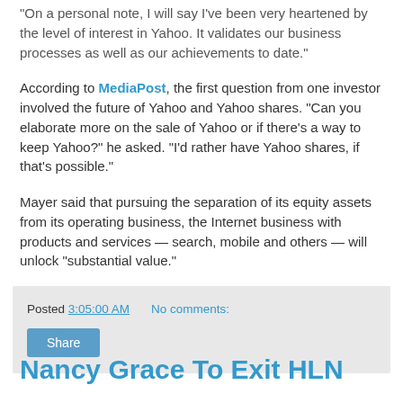"On a personal note, I will say I've been very heartened by the level of interest in Yahoo. It validates our business processes as well as our achievements to date."
According to MediaPost, the first question from one investor involved the future of Yahoo and Yahoo shares. "Can you elaborate more on the sale of Yahoo or if there's a way to keep Yahoo?" he asked. "I'd rather have Yahoo shares, if that's possible."
Mayer said that pursuing the separation of its equity assets from its operating business, the Internet business with products and services — search, mobile and others — will unlock "substantial value."
Posted 3:05:00 AM   No comments:
Share
Nancy Grace To Exit HLN